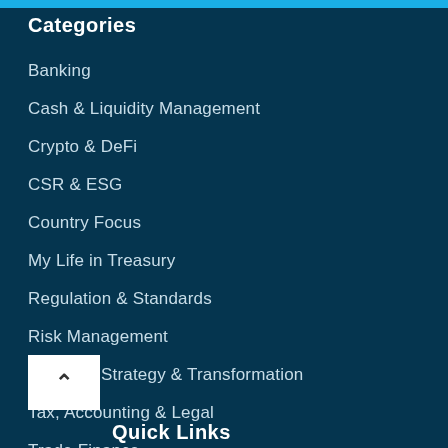Categories
Banking
Cash & Liquidity Management
Crypto & DeFi
CSR & ESG
Country Focus
My Life in Treasury
Regulation & Standards
Risk Management
Treasury Strategy & Transformation
Tax, Accounting & Legal
Trade Finance
Treasury Technology
Quick Links